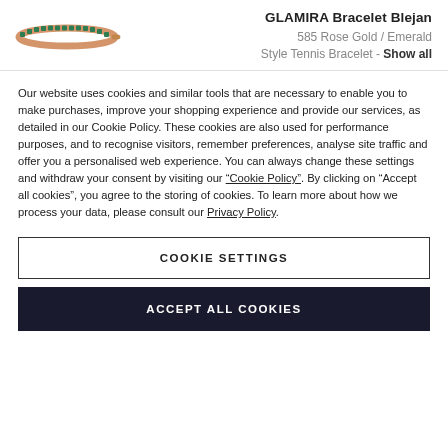[Figure (photo): A rose gold and emerald tennis bracelet shown horizontally.]
GLAMIRA Bracelet Blejan
585 Rose Gold / Emerald
Style Tennis Bracelet - Show all
Our website uses cookies and similar tools that are necessary to enable you to make purchases, improve your shopping experience and provide our services, as detailed in our Cookie Policy. These cookies are also used for performance purposes, and to recognise visitors, remember preferences, analyse site traffic and offer you a personalised web experience. You can always change these settings and withdraw your consent by visiting our “Cookie Policy”. By clicking on “Accept all cookies”, you agree to the storing of cookies. To learn more about how we process your data, please consult our Privacy Policy.
COOKIE SETTINGS
ACCEPT ALL COOKIES